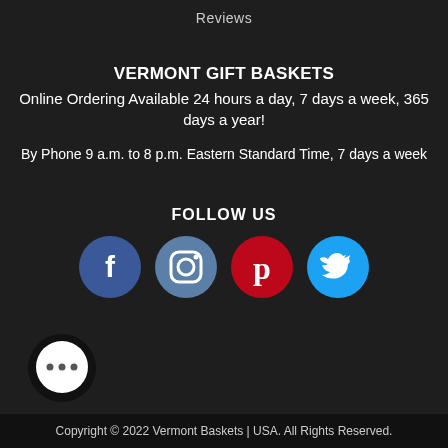Reviews
VERMONT GIFT BASKETS
Online Ordering Available 24 hours a day, 7 days a week, 365 days a year!
By Phone 9 a.m. to 8 p.m. Eastern Standard Time, 7 days a week
FOLLOW US
[Figure (infographic): Four social media icons: Facebook (dark blue circle with f), Instagram (steel blue circle with camera icon), Pinterest (red circle with P), Twitter (light blue circle with bird icon)]
[Figure (infographic): Chat bubble icon with three dots on dark background]
Copyright © 2022 Vermont Baskets | USA. All Rights Reserved.